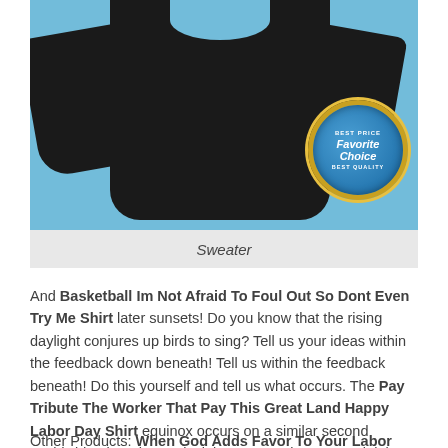[Figure (photo): Black sweater on light blue background with a gold and blue 'Favorite Choice' badge in the lower right corner]
Sweater
And Basketball Im Not Afraid To Foul Out So Dont Even Try Me Shirt later sunsets! Do you know that the rising daylight conjures up birds to sing? Tell us your ideas within the feedback down beneath! Tell us within the feedback beneath! Do this yourself and tell us what occurs. The Pay Tribute The Worker That Pay This Great Land Happy Labor Day Shirt equinox occurs on a similar second worldwide, though our clock instances mirror a special time zone.
Other Products: When God Adds Favor To Your Labor Shirt